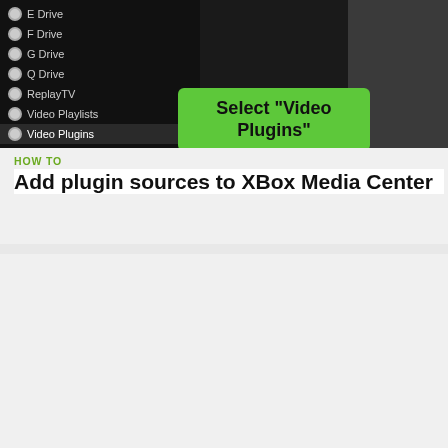[Figure (screenshot): XBox Media Center screenshot showing a menu with E Drive, F Drive, G Drive, Q Drive, ReplayTV, Video Playlists, Video Plugins items. A green callout bubble says 'Select "Video Plugins"'. A New Folder button is visible top right.]
HOW TO
Add plugin sources to XBox Media Center
[Figure (screenshot): Video thumbnail showing hands holding a circuit board or card with blue coloring and a play button overlay]
[Figure (other): Wayfair advertisement banner: 'Top Appliances Low Prices' with image of stove and text 'Save on best selling brands that live up to the hype' with a purple Shop now button]